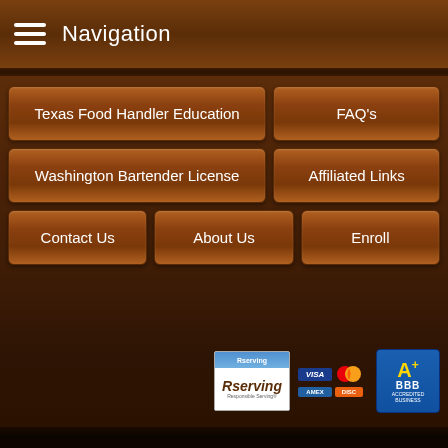Navigation
Texas Food Handler Education
FAQ's
Washington Bartender License
Affiliated Links
Contact Us
About Us
Enroll
[Figure (logo): Rserving logo badge, payment card logos (Visa, Mastercard, Amex, Discover), and BBB A+ rating badge]
Rserving® & Responsible Serving® are registered trademarks of PSCC